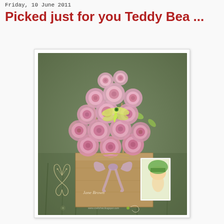Friday, 10 June 2011
Picked just for you Teddy Bea ...
[Figure (photo): A handmade greeting card featuring a bouquet of pink rolled paper roses with green leaves and a dragonfly embellishment, tied with twine and a lavender ribbon bow. The card has a kraft brown base with a butterfly outline and 'Jane Brown' signature. A small illustrated panel on the right shows a character in a green hat. The card is photographed on a grass background.]